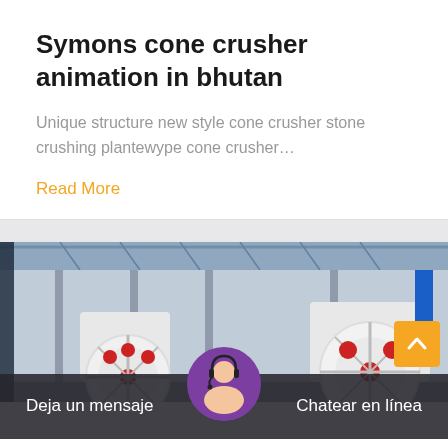Symons cone crusher animation in bhutan
Unique structure new style cone crusher stone crushing plantewype cone crusher…
Read More
[Figure (photo): Industrial factory interior showing large cone crusher machinery with white and red flywheel components, red overhead crane beams, and steel roof structure]
Deja un mensaje
Chatear en línea